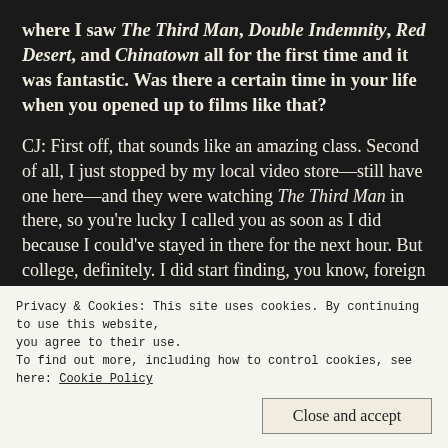where I saw The Third Man, Double Indemnity, Red Desert, and Chinatown all for the first time and it was fantastic. Was there a certain time in your life when you opened up to films like that?
CJ: First off, that sounds like an amazing class. Second of all, I just stopped by my local video store—still have one here—and they were watching The Third Man in there, so you're lucky I called you as soon as I did because I could've stayed in there for the next hour. But college, definitely. I did start finding, you know, foreign films and older films when I was in high school. Like Casablanca, It's a
Privacy & Cookies: This site uses cookies. By continuing to use this website, you agree to their use.
To find out more, including how to control cookies, see here: Cookie Policy
Close and accept